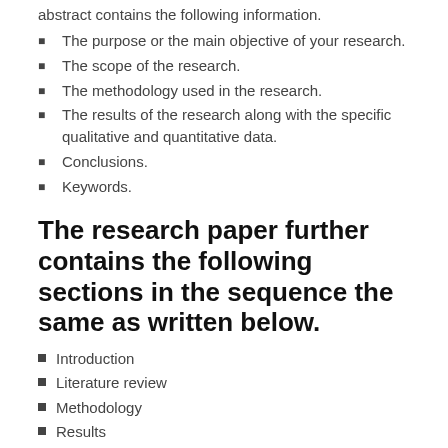abstract contains the following information.
The purpose or the main objective of your research.
The scope of the research.
The methodology used in the research.
The results of the research along with the specific qualitative and quantitative data.
Conclusions.
Keywords.
The research paper further contains the following sections in the sequence the same as written below.
Introduction
Literature review
Methodology
Results